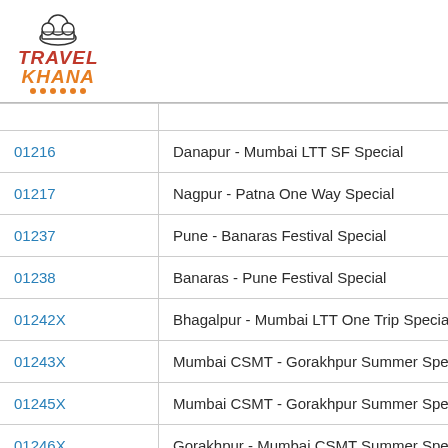[Figure (logo): Travel Khana logo with chef hat icon, TRAVEL in red bold italic, KHANA in orange bold italic, with orange dots underline]
| Train No. | Train Name |
| --- | --- |
| 01216 | Danapur - Mumbai LTT SF Special |
| 01217 | Nagpur - Patna One Way Special |
| 01237 | Pune - Banaras Festival Special |
| 01238 | Banaras - Pune Festival Special |
| 01242X | Bhagalpur - Mumbai LTT One Trip Special (v… |
| 01243X | Mumbai CSMT - Gorakhpur Summer Specia… |
| 01245X | Mumbai CSMT - Gorakhpur Summer Specia… |
| 01246X | Gorakhpur - Mumbai CSMT Summer Specia… |
| 01248X | Darbhanga - Mumbai LTT Summer Special (… |
| 01250X | Gorakhpur - Mumbai CSMT Summer Specia… |